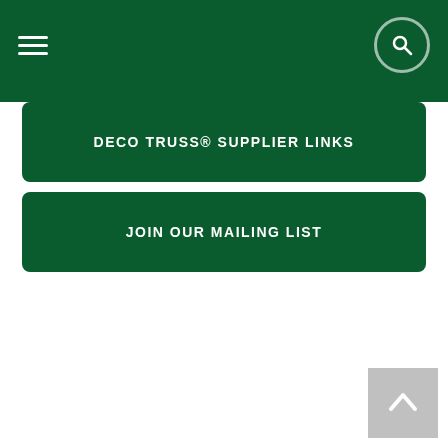Navigation header with hamburger menu and search button
DECO TRUSS® SUPPLIER LINKS
JOIN OUR MAILING LIST
[Figure (other): Back to top arrow button in grey at bottom right corner]